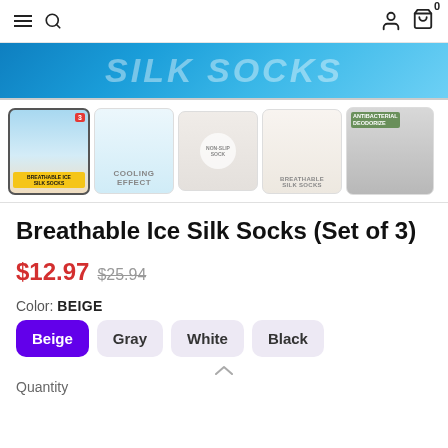Navigation bar with menu, search, account, cart (0)
[Figure (photo): Hero banner with ice/water background and 'SILK SOCKS' text]
[Figure (photo): Thumbnail row: 5 product images - Breathable Ice Silk Socks (3), Cooling Effect, Non-slip, Breathable, Antibacterial]
Breathable Ice Silk Socks (Set of 3)
$12.97 $25.94
Color: BEIGE
Beige | Gray | White | Black
Quantity